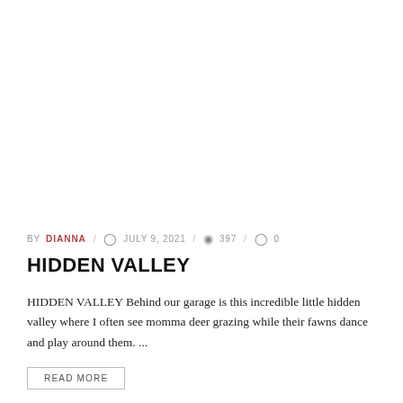BY DIANNA / JULY 9, 2021 / 397 / 0
HIDDEN VALLEY
HIDDEN VALLEY Behind our garage is this incredible little hidden valley where I often see momma deer grazing while their fawns dance and play around them. ...
READ MORE